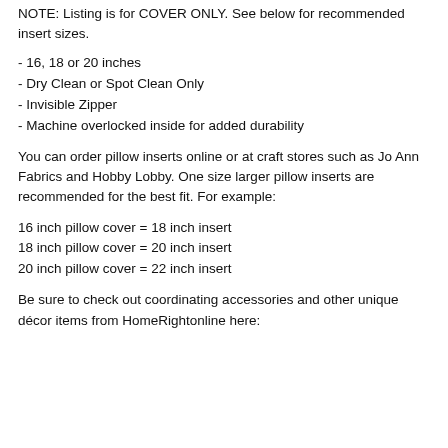NOTE: Listing is for COVER ONLY. See below for recommended insert sizes.
- 16, 18 or 20 inches
- Dry Clean or Spot Clean Only
- Invisible Zipper
- Machine overlocked inside for added durability
You can order pillow inserts online or at craft stores such as Jo Ann Fabrics and Hobby Lobby. One size larger pillow inserts are recommended for the best fit. For example:
16 inch pillow cover = 18 inch insert
18 inch pillow cover = 20 inch insert
20 inch pillow cover = 22 inch insert
Be sure to check out coordinating accessories and other unique décor items from HomeRightonline here: